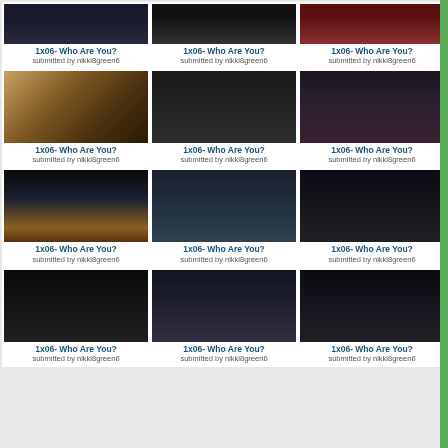[Figure (screenshot): Grid of 12 TV show screenshot thumbnails, each labeled '1x06- Who Are You?' submitted by nikki8green6. Three columns, four rows of images from what appears to be a TV drama, with dark cinematic stills.]
1x06- Who Are You?
submitted by nikki8green6
1x06- Who Are You?
submitted by nikki8green6
1x06- Who Are You?
submitted by nikki8green6
1x06- Who Are You?
submitted by nikki8green6
1x06- Who Are You?
submitted by nikki8green6
1x06- Who Are You?
submitted by nikki8green6
1x06- Who Are You?
submitted by nikki8green6
1x06- Who Are You?
submitted by nikki8green6
1x06- Who Are You?
submitted by nikki8green6
1x06- Who Are You?
submitted by nikki8green6
1x06- Who Are You?
submitted by nikki8green6
1x06- Who Are You?
submitted by nikki8green6